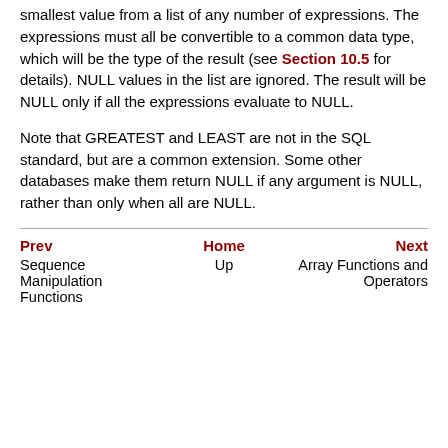The GREATEST and LEAST functions select the largest or smallest value from a list of any number of expressions. The expressions must all be convertible to a common data type, which will be the type of the result (see Section 10.5 for details). NULL values in the list are ignored. The result will be NULL only if all the expressions evaluate to NULL.
Note that GREATEST and LEAST are not in the SQL standard, but are a common extension. Some other databases make them return NULL if any argument is NULL, rather than only when all are NULL.
Prev | Home | Next | Sequence Manipulation Functions | Up | Array Functions and Operators